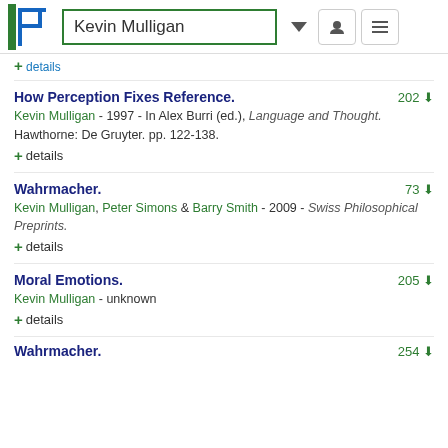Kevin Mulligan
+ details
How Perception Fixes Reference.
Kevin Mulligan - 1997 - In Alex Burri (ed.), Language and Thought. Hawthorne: De Gruyter. pp. 122-138.
+ details
Wahrmacher.
Kevin Mulligan, Peter Simons & Barry Smith - 2009 - Swiss Philosophical Preprints.
+ details
Moral Emotions.
Kevin Mulligan - unknown
+ details
Wahrmacher.
254